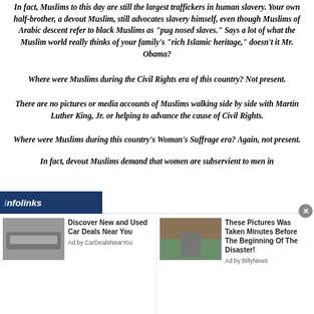In fact, Muslims to this day are still the largest traffickers in human slavery. Your own half-brother, a devout Muslim, still advocates slavery himself, even though Muslims of Arabic descent refer to black Muslims as "pug nosed slaves." Says a lot of what the Muslim world really thinks of your family's "rich Islamic heritage," doesn't it Mr. Obama?
Where were Muslims during the Civil Rights era of this country? Not present.
There are no pictures or media accounts of Muslims walking side by side with Martin Luther King, Jr. or helping to advance the cause of Civil Rights.
Where were Muslims during this country's Woman's Suffrage era? Again, not present.
In fact, devout Muslims demand that women are subservient to men in
[Figure (screenshot): Infolinks advertisement bar with two sponsored content ads: 'Discover New and Used Car Deals Near You' by CarDealsNearYou and 'These Pictures Was Taken Minutes Before The Beginning Of The Disaster!' by BillyNews]